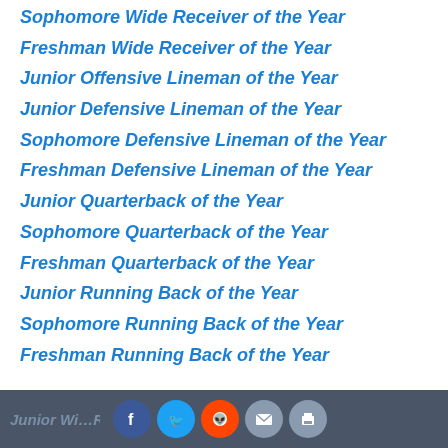Sophomore Wide Receiver of the Year
Freshman Wide Receiver of the Year
Junior Offensive Lineman of the Year
Junior Defensive Lineman of the Year
Sophomore Defensive Lineman of the Year
Freshman Defensive Lineman of the Year
Junior Quarterback of the Year
Sophomore Quarterback of the Year
Freshman Quarterback of the Year
Junior Running Back of the Year
Sophomore Running Back of the Year
Freshman Running Back of the Year
Junior Wide Receiver of the Year